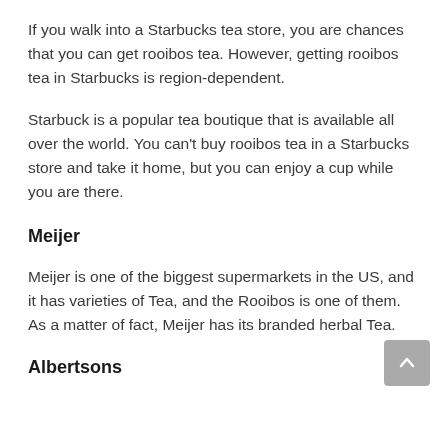If you walk into a Starbucks tea store, you are chances that you can get rooibos tea. However, getting rooibos tea in Starbucks is region-dependent.
Starbuck is a popular tea boutique that is available all over the world. You can't buy rooibos tea in a Starbucks store and take it home, but you can enjoy a cup while you are there.
Meijer
Meijer is one of the biggest supermarkets in the US, and it has varieties of Tea, and the Rooibos is one of them. As a matter of fact, Meijer has its branded herbal Tea.
Albertsons